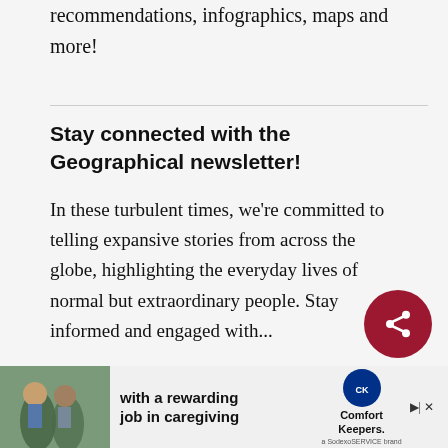recommendations, infographics, maps and more!
Stay connected with the Geographical newsletter!
In these turbulent times, we're committed to telling expansive stories from across the globe, highlighting the everyday lives of normal but extraordinary people. Stay informed and engaged with...
[Figure (infographic): Red circular share button with share icon]
[Figure (infographic): Advertisement banner: Comfort Keepers caregiving job ad with two people in an outdoor setting]